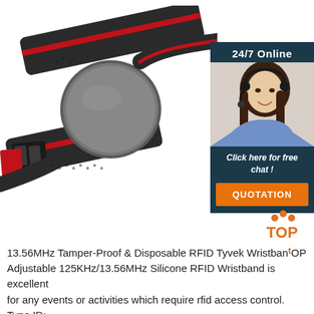[Figure (photo): Product photo of a black RFID wristband with red accents and a circular grey disc/button on top, with a 24/7 online chat widget overlay in the top-right corner showing a female customer service agent with headset, text '24/7 Online', 'Click here for free chat!', and an orange QUOTATION button. A small orange TOP icon appears near the wristband.]
13.56MHz Tamper-Proof & Disposable RFID Tyvek Wristband Adjustable 125KHz/13.56MHz Silicone RFID Wristband is excellent for any events or activities which require rfid access control. Type ID: